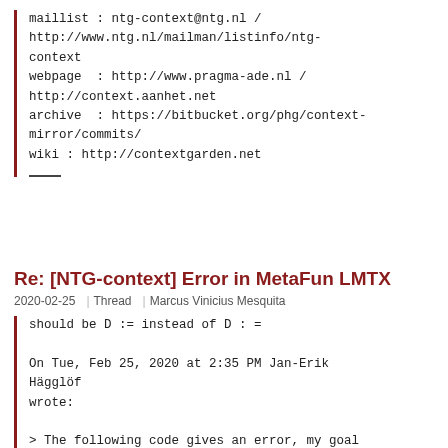maillist : ntg-context@ntg.nl / http://www.ntg.nl/mailman/listinfo/ntg-context
webpage  : http://www.pragma-ade.nl / http://context.aanhet.net
archive  : https://bitbucket.org/phg/context-mirror/commits/
wiki : http://contextgarden.net
Re: [NTG-context] Error in MetaFun LMTX
2020-02-25  Thread  Marcus Vinicius Mesquita
should be D := instead of D : =

On Tue, Feb 25, 2020 at 2:35 PM Jan-Erik Hägglöf
wrote:

> The following code gives an error, my goal is to draw 4 different arrows
> but only three functions successfully.